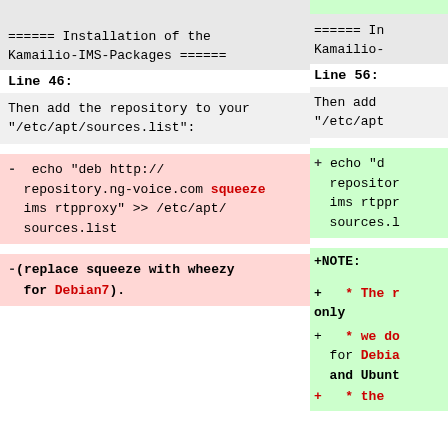====== Installation of the Kamailio-IMS-Packages ======
Line 46:
Then add the repository to your "/etc/apt/sources.list":
- echo "deb http://repository.ng-voice.com squeeze ims rtpproxy" >> /etc/apt/sources.list
-(replace squeeze with wheezy for Debian7).
====== In Kamailio-
Line 56:
Then add "/etc/apt
+ echo "d repositor ims rtppr sources.l
+NOTE:
+ * The r only
+ * we do for Debia and Ubunt